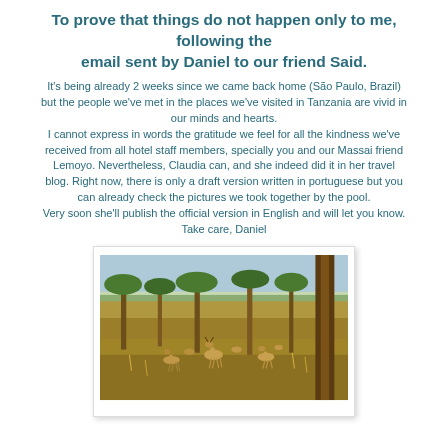To prove that things do not happen only to me, following the email sent by Daniel to our friend Said.
It's being already 2 weeks since we came back home (São Paulo, Brazil) but the people we've met in the places we've visited in Tanzania are vivid in our minds and hearts.
I cannot express in words the gratitude we feel for all the kindness we've received from all hotel staff members, specially you and our Massai friend Lemoyo. Nevertheless, Claudia can, and she indeed did it in her travel blog. Right now, there is only a draft version written in portuguese but you can already check the pictures we took together by the pool.
Very soon she'll publish the official version in English and will let you know.
Take care, Daniel
[Figure (photo): Safari photo showing deer/impala animals in a savanna landscape with trees, dry grass, and a tree trunk visible in the foreground, Tanzania]